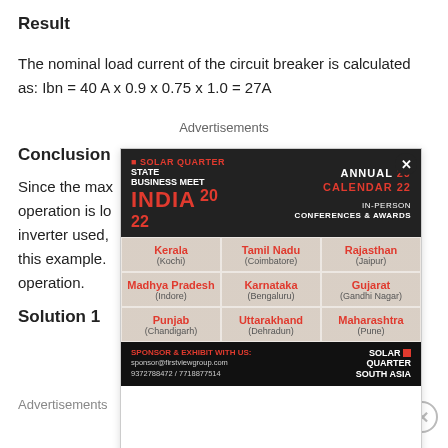Result
The nominal load current of the circuit breaker is calculated as: Ibn = 40 A x 0.9 x 0.75 x 1.0 = 27A
Advertisements
Conclusion
Since the max... or fault-free operation is lo... rrent of the inverter used, ... ot be used in this example. ... rated operation.
Solution 1
Advertisements
[Figure (illustration): Solar Quarter State Business Meet India 2022 advertisement overlay showing event locations in Indian states: Kerala (Kochi), Tamil Nadu (Coimbatore), Rajasthan (Jaipur), Madhya Pradesh (Indore), Karnataka (Bengaluru), Gujarat (Gandhi Nagar), Punjab (Chandigarh), Uttarakhand (Dehradun), Maharashtra (Pune). Annual Calendar 2022, In-Person Conferences & Awards. Sponsor contact: sponsor@firstviewgroup.com, 9372788472/7718877514]